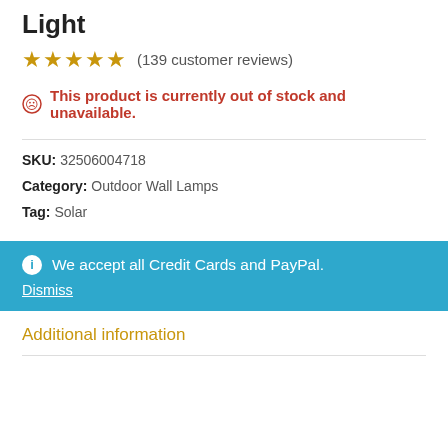Light
★★★★★ (139 customer reviews)
This product is currently out of stock and unavailable.
SKU: 32506004718
Category: Outdoor Wall Lamps
Tag: Solar
We accept all Credit Cards and PayPal.
Dismiss
Additional information